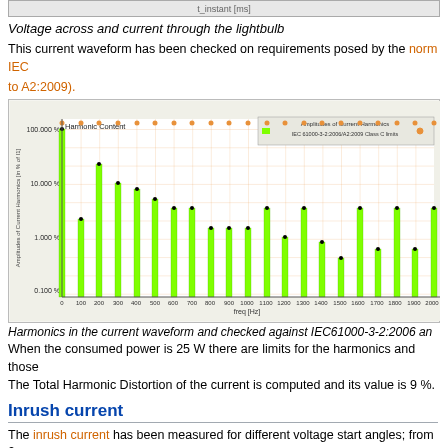[Figure (other): Top strip showing partial waveform chart with t_instant axis label]
Voltage across and current through the lightbulb
This current waveform has been checked on requirements posed by the norm IEC 61000-3-2:2006 (including amendment to A2:2009).
[Figure (bar-chart): Harmonic content bar chart with IEC 61000-3-2:2006/A2:2009 Class C limits shown as orange dots across top]
Harmonics in the current waveform and checked against IEC61000-3-2:2006 an...
When the consumed power is 25 W there are limits for the harmonics and those...
The Total Harmonic Distortion of the current is computed and its value is 9 %.
Inrush current
The inrush current has been measured for different voltage start angles; from 0-... degrees step. The current- and voltage values have been acquires at a sample ...